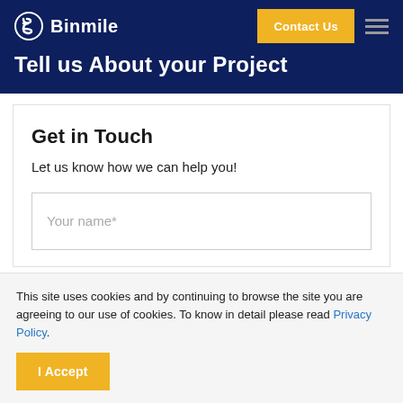Binmile
Tell us About your Project
Get in Touch
Let us know how we can help you!
Your name*
This site uses cookies and by continuing to browse the site you are agreeing to our use of cookies. To know in detail please read Privacy Policy.
I Accept